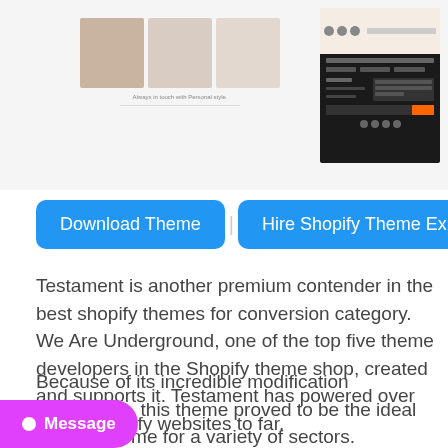[Figure (screenshot): Two website screenshot previews: left shows a fashion/lifestyle theme with three portrait photos of women and a tagline; right shows a dark-themed e-commerce footer with navigation links and a search/input field.]
[Figure (screenshot): Two blue rounded buttons side by side: 'Download Theme' and 'Hire Shopify Theme Expert']
Testament is another premium contender in the best shopify themes for conversion category. We Are Underground, one of the top five theme developers in the Shopify theme shop, created and supports it. Testament has powered over 9.300 Shopify websites to far.
Because of its incredible modification capabilities, this theme proved to be the ideal Shopify theme for a variety of sectors. Testament, on the other hand, is e health and beauty industries. Customers
[Figure (other): Pink/magenta chat message button with white dot icon and 'Message' label in bottom-left corner]